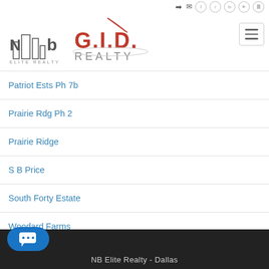NB Elite Realty / GID Realty header with social icons
[Figure (logo): NB Elite Realty logo (building silhouette) alongside G.I.D. Realty logo (red text with roof graphic)]
Patriot Ests Ph 7b
Prairie Rdg Ph 2
Prairie Ridge
S B Price
South Forty Estate
Woodard Farms
NB Elite Realty - Dallas